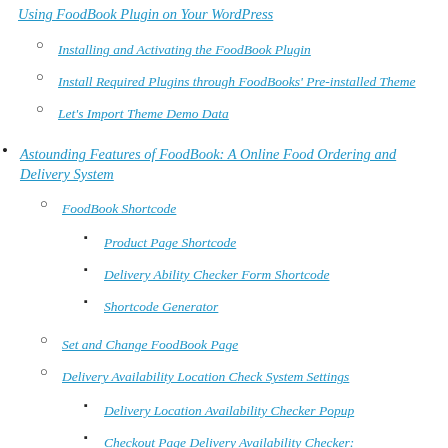Using FoodBook Plugin on Your WordPress
Installing and Activating the FoodBook Plugin
Install Required Plugins through FoodBooks' Pre-installed Theme
Let's Import Theme Demo Data
Astounding Features of FoodBook: A Online Food Ordering and Delivery System
FoodBook Shortcode
Product Page Shortcode
Delivery Ability Checker Form Shortcode
Shortcode Generator
Set and Change FoodBook Page
Delivery Availability Location Check System Settings
Delivery Location Availability Checker Popup
Checkout Page Delivery Availability Checker: